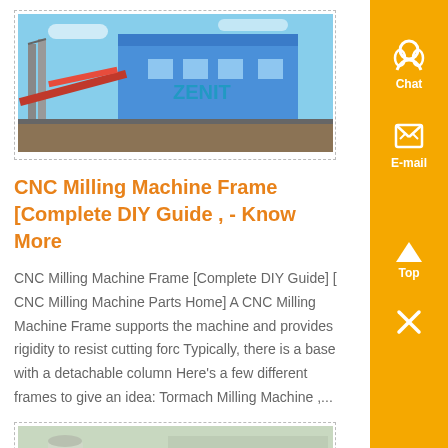[Figure (photo): Industrial facility with large blue building labeled ZENIT, machinery and conveyor structures visible outdoors]
CNC Milling Machine Frame [Complete DIY Guide , - Know More
CNC Milling Machine Frame [Complete DIY Guide] [ CNC Milling Machine Parts Home] A CNC Milling Machine Frame supports the machine and provides rigidity to resist cutting forc Typically, there is a base with a detachable column Here's a few different frames to give an idea: Tormach Milling Machine ,...
[Figure (photo): Industrial dust collection or filtration equipment with cylindrical structures and tanks in an outdoor facility, yellow ZENIT branding visible]